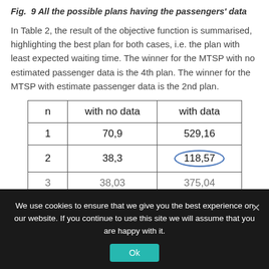Fig.  9 All the possible plans having the passengers' data
In Table 2, the result of the objective function is summarised, highlighting the best plan for both cases, i.e. the plan with least expected waiting time. The winner for the MTSP with no estimated passenger data is the 4th plan. The winner for the MTSP with estimate passenger data is the 2nd plan.
| n | with no data | with data |
| --- | --- | --- |
| 1 | 70,9 | 529,16 |
| 2 | 38,3 | 118,57 |
| 3 | 38,03 | 375,04 |
We use cookies to ensure that we give you the best experience on our website. If you continue to use this site we will assume that you are happy with it.